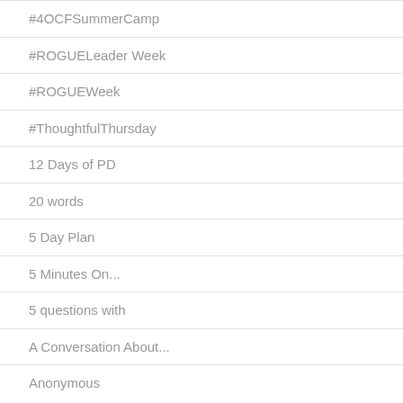#4OCFSummerCamp
#ROGUELeader Week
#ROGUEWeek
#ThoughtfulThursday
12 Days of PD
20 words
5 Day Plan
5 Minutes On...
5 questions with
A Conversation About...
Anonymous